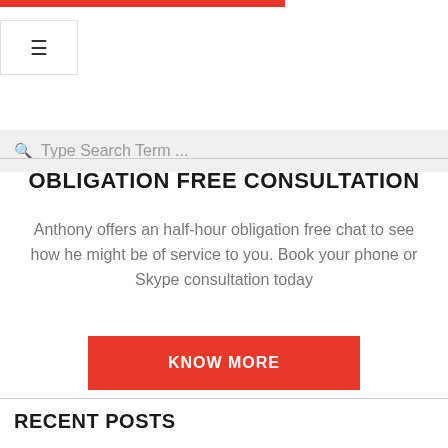[Figure (other): Red horizontal bar at top of page]
[Figure (other): Hamburger menu button icon (three horizontal lines)]
Type Search Term ...
OBLIGATION FREE CONSULTATION
Anthony offers an half-hour obligation free chat to see how he might be of service to you. Book your phone or Skype consultation today
KNOW MORE
RECENT POSTS